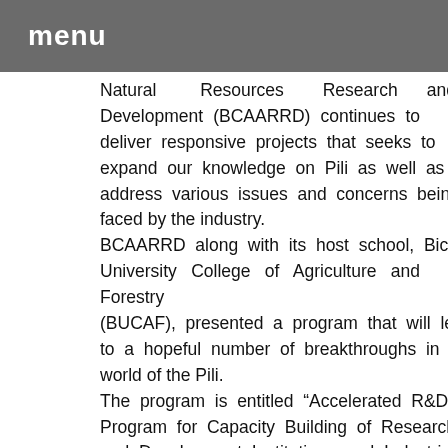menu
Natural Resources Research and Development (BCAARRD) continues to deliver responsive projects that seeks to expand our knowledge on Pili as well as address various issues and concerns being faced by the industry. BCAARRD along with its host school, Bicol University College of Agriculture and Forestry (BUCAF), presented a program that will lead to a hopeful number of breakthroughs in the world of the Pili. The program is entitled “Accelerated R&D Program for Capacity Building of Research and Development Institutions and Industrial Competitiveness: Niche Centers in the Regions for R&D (NICER) Program: Pili Research and Development (R& D) Center”